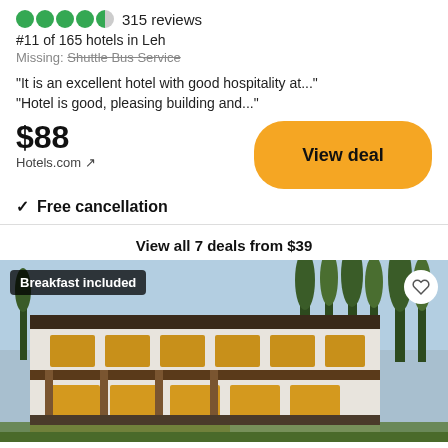315 reviews
#11 of 165 hotels in Leh
Missing: Shuttle Bus Service
"It is an excellent hotel with good hospitality at..."
"Hotel is good, pleasing building and..."
$88
Hotels.com ↗
View deal
✓  Free cancellation
View all 7 deals from $39
[Figure (photo): Exterior photo of a Tibetan-style white hotel building with wooden trim and multiple floors, surrounded by trees, with a blue sky in the background. A 'Breakfast included' badge is in the top left and a heart/favorite icon in the top right.]